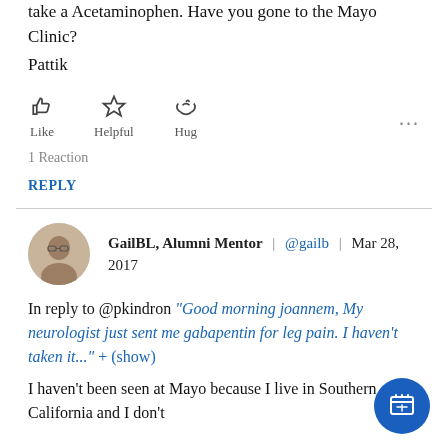take a Acetaminophen. Have you gone to the Mayo Clinic?
Pattik
[Figure (other): Reaction buttons: thumbs up (Like), star (Helpful), heart with hands (Hug), and three dots menu]
1 Reaction
REPLY
GailBL, Alumni Mentor | @gailb | Mar 28, 2017
In reply to @pkindron "Good morning joannem, My neurologist just sent me gabapentin for leg pain. I haven't taken it..." + (show)
I haven't been seen at Mayo because I live in Southern California and I don't